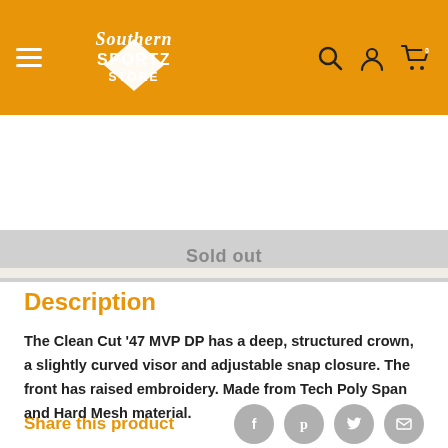[Figure (logo): Southern Sportz Store logo with white diamond shape and stylized text on orange/gold background, with hamburger menu icon on left and search, account, cart icons on right]
Sold out
Share this product
Description
The Clean Cut '47 MVP DP has a deep, structured crown, a slightly curved visor and adjustable snap closure. The front has raised embroidery. Made from Tech Poly Span and Hard Mesh material.